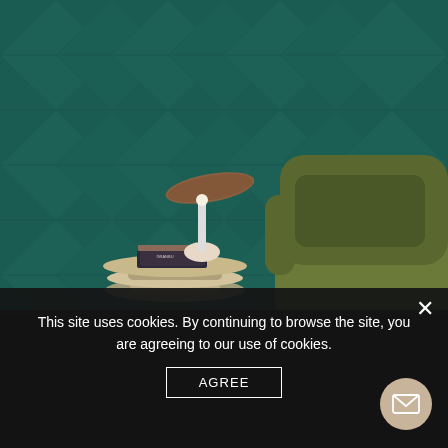[Figure (photo): Interior design photo: green velvet armchair with cushion next to a side table with books and a decorative leaf-shaped lamp, set against a dark teal wall with diamond geometric pattern.]
This site uses cookies. By continuing to browse the site, you are agreeing to our use of cookies.
AGREE